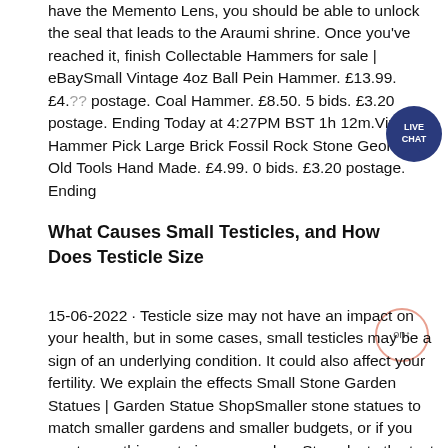have the Memento Lens, you should be able to unlock the seal that leads to the Araumi shrine. Once you've reached it, finish Collectable Hammers for sale | eBaySmall Vintage 4oz Ball Pein Hammer. £13.99. £4.?? postage. Coal Hammer. £8.50. 5 bids. £3.20 postage. Ending Today at 4:27PM BST 1h 12m.Vintage Hammer Pick Large Brick Fossil Rock Stone Geologists Old Tools Hand Made. £4.99. 0 bids. £3.20 postage. Ending
[Figure (other): Live Chat button — teal circular chat bubble icon with text LIVE CHAT]
What Causes Small Testicles, and How Does Testicle Size
[Figure (other): Scroll-to-top button — circular outline with upward arrow and text 'on↑']
15-06-2022 · Testicle size may not have an impact on your health, but in some cases, small testicles may be a sign of an underlying condition. It could also affect your fertility. We explain the effects Small Stone Garden Statues | Garden Statue ShopSmaller stone statues to match smaller gardens and smaller budgets, or if you want something cute in your garden. Stone lasts the test